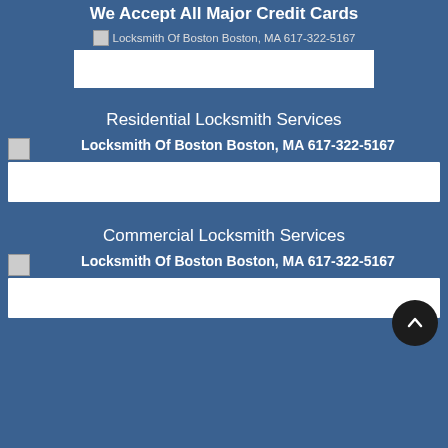We Accept All Major Credit Cards
[Figure (photo): Broken image placeholder: Locksmith Of Boston Boston, MA 617-322-5167 with white rectangle below]
Residential Locksmith Services
[Figure (photo): Broken image placeholder: Locksmith Of Boston Boston, MA 617-322-5167 with white rectangle below]
Commercial Locksmith Services
[Figure (photo): Broken image placeholder: Locksmith Of Boston Boston, MA 617-322-5167 with white rectangle below]